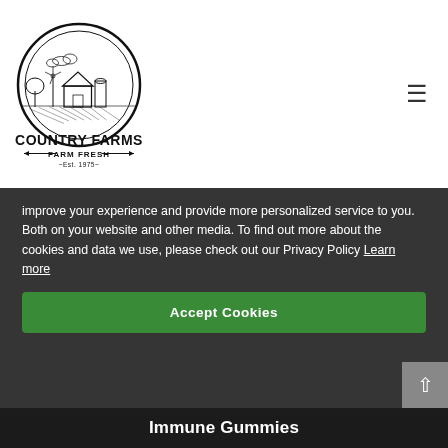[Figure (logo): Country Farms circular logo with farm scene illustration, text 'COUNTRY FARMS', 'FARM FRESH', '~Est. 1975~']
improve your experience and provide more personalized service to you. Both on your website and other media. To find out more about the cookies and data we use, please check out our Privacy Policy Learn more
Accept Cookies
Immune Gummies